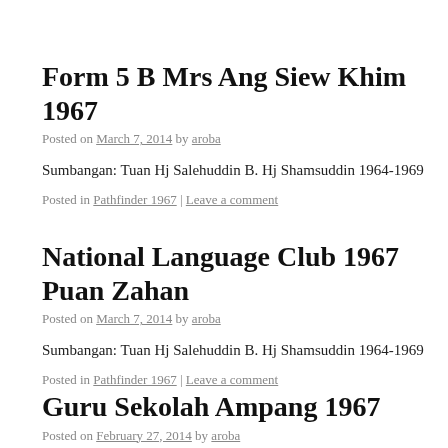Form 5 B Mrs Ang Siew Khim 1967
Posted on March 7, 2014 by aroba
Sumbangan: Tuan Hj Salehuddin B. Hj Shamsuddin 1964-1969
Posted in Pathfinder 1967 | Leave a comment
National Language Club 1967 Puan Zahan
Posted on March 7, 2014 by aroba
Sumbangan: Tuan Hj Salehuddin B. Hj Shamsuddin 1964-1969
Posted in Pathfinder 1967 | Leave a comment
Guru Sekolah Ampang 1967
Posted on February 27, 2014 by aroba